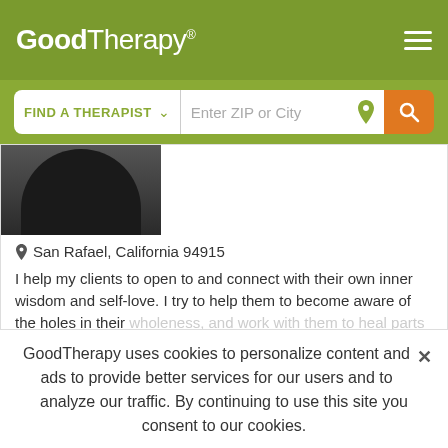GoodTherapy®
FIND A THERAPIST  Enter ZIP or City
San Rafael, California 94915
I help my clients to open to and connect with their own inner wisdom and self-love. I try to help them to become aware of the holes in their wholeness, and work with them to heal parts they have disowned or
Email Me
415-968-6815
Maggie Benedict-
GoodTherapy uses cookies to personalize content and ads to provide better services for our users and to analyze our traffic. By continuing to use this site you consent to our cookies.